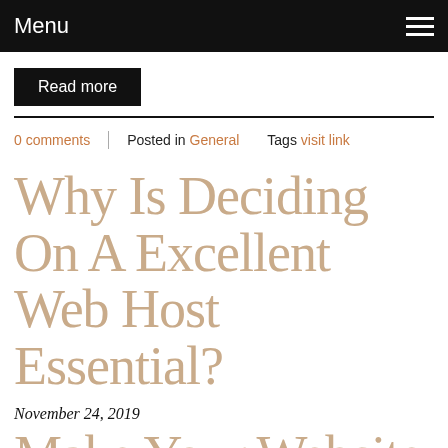Menu
Read more
0 comments | Posted in General   Tags visit link
Why Is Deciding On A Excellent Web Host Essential?
November 24, 2019
Make Your Website